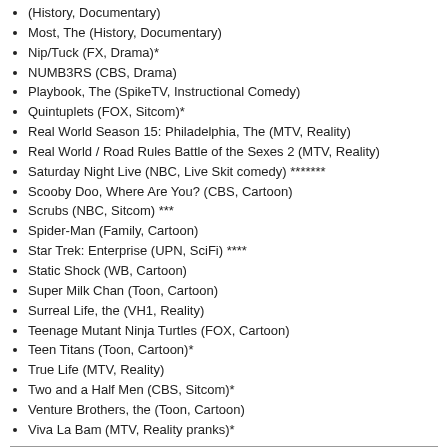(History, Documentary) [partial/clipped top]
Most, The (History, Documentary)
Nip/Tuck (FX, Drama)*
NUMB3RS (CBS, Drama)
Playbook, The (SpikeTV, Instructional Comedy)
Quintuplets (FOX, Sitcom)*
Real World Season 15: Philadelphia, The (MTV, Reality)
Real World / Road Rules Battle of the Sexes 2 (MTV, Reality)
Saturday Night Live (NBC, Live Skit comedy) *******
Scooby Doo, Where Are You? (CBS, Cartoon)
Scrubs (NBC, Sitcom) ***
Spider-Man (Family, Cartoon)
Star Trek: Enterprise (UPN, SciFi) ****
Static Shock (WB, Cartoon)
Super Milk Chan (Toon, Cartoon)
Surreal Life, the (VH1, Reality)
Teenage Mutant Ninja Turtles (FOX, Cartoon)
Teen Titans (Toon, Cartoon)*
True Life (MTV, Reality)
Two and a Half Men (CBS, Sitcom)*
Venture Brothers, the (Toon, Cartoon)
Viva La Bam (MTV, Reality pranks)*
Here are the shows I'm watching as of August 2004. With NetFlix DVDs and XBox competing for my spare time, I've been watching less TV.
I would not be able to watch this many shows if it were not for Tivo. I Fast Forward thru most of most shows for example ...
90 minute Saturday Night Live reduced to 20 minutes to watch my favorite skits or bands.
60 minute Big Brother 5 reduced to 15 minutes for the highlights.
60 minute Joe Schmo 2 reduced to 15 minute highlights.